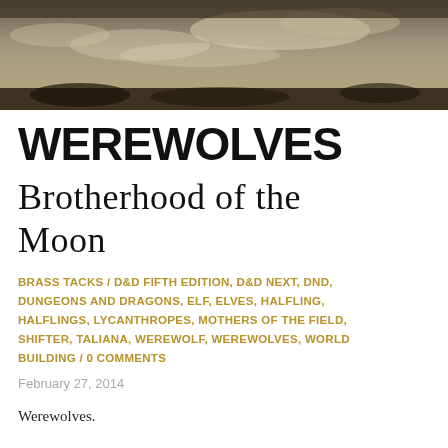[Figure (photo): Moody sky photograph with clouds and sepia/golden tones used as header image]
WEREWOLVES
Brotherhood of the Moon
BRASS TACKS / D&D FIFTH EDITION, D&D NEXT, DND, DUNGEONS AND DRAGONS, ELF, ELVES, HALFLING, HALFLINGS, LYCANTHROPES, MOTHERS OF THE FIELD, SHIFTER, TALIANA, WEREWOLF, WEREWOLVES, WORLD BUILDING / 0 COMMENTS
February 27, 2014
Werewolves.